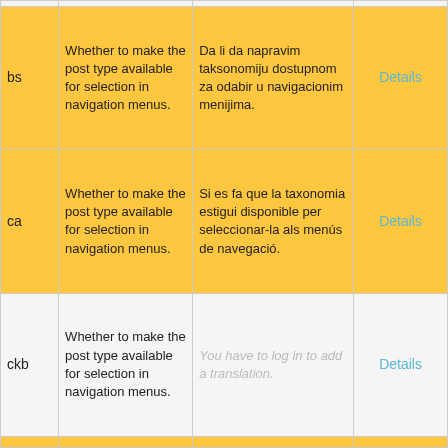| lang | description_en | description_localized | action |
| --- | --- | --- | --- |
| bs | Whether to make the post type available for selection in navigation menus. | Da li da napravim taksonomiju dostupnom za odabir u navigacionim menijima. | Details |
| ca | Whether to make the post type available for selection in navigation menus. | Si es fa que la taxonomia estigui disponible per seleccionar-la als menús de navegació. | Details |
| ckb | Whether to make the post type available for selection in navigation menus. | You have to log in to add a translation. | Details |